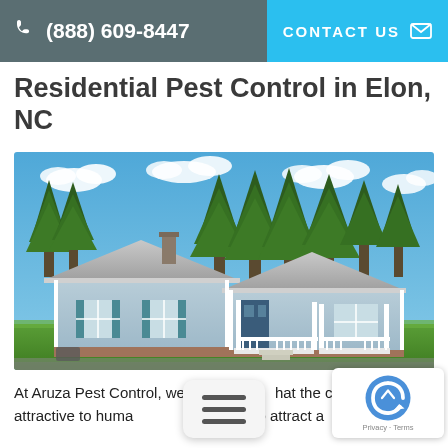(888) 609-8447  CONTACT US
Residential Pest Control in Elon, NC
[Figure (photo): A light blue single-story ranch-style house with teal shutters, a covered front porch with white railings, surrounded by tall pine trees and a green lawn under a blue sky with white clouds.]
At Aruza Pest Control, we know that the climate Elon is attractive to huma... it can also attract a